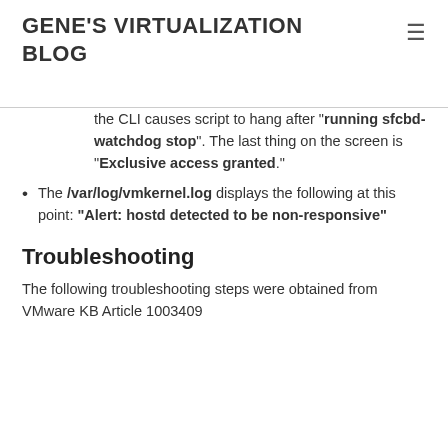GENE'S VIRTUALIZATION BLOG
the CLI causes script to hang after “running sfcbd-watchdog stop”. The last thing on the screen is “Exclusive access granted.”
The /var/log/vmkernel.log displays the following at this point: “Alert: hostd detected to be non-responsive”
Troubleshooting
The following troubleshooting steps were obtained from VMware KB Article 1003409